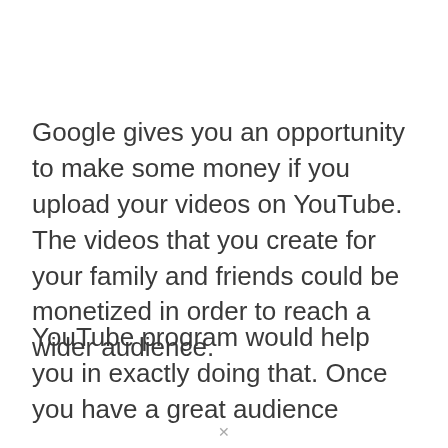Google gives you an opportunity to make some money if you upload your videos on YouTube. The videos that you create for your family and friends could be monetized in order to reach a wider audience.
YouTube program would help you in exactly doing that. Once you have a great audience